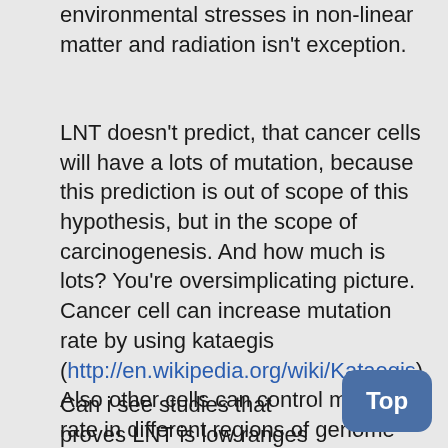environmental stresses in non-linear matter and radiation isn't exception.
LNT doesn't predict, that cancer cells will have a lots of mutation, because this prediction is out of scope of this hypothesis, but in the scope of carcinogenesis. And how much is lots? You're oversimplicating picture. Cancer cell can increase mutation rate by using kataegis (http://en.wikipedia.org/wiki/Kataegis). Also other cells can control mutation rate in different regions of genome (http://www.nature.com/nature/journal/v48... this imply, existence of repair mechanism.
Can i see studies that proves LNT is low ranges e.g. 100 rem or 20